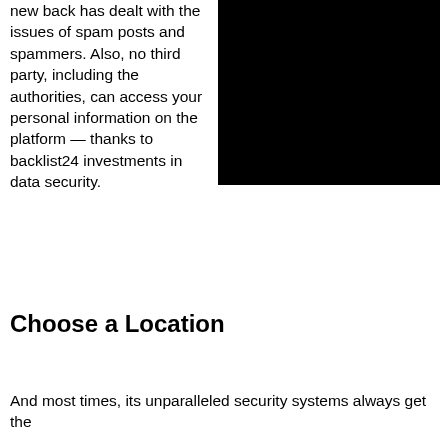new back has dealt with the issues of spam posts and spammers. Also, no third party, including the authorities, can access your personal information on the platform — thanks to backlist24 investments in data security.
[Figure (photo): A large black rectangular image/photo placeholder occupying the right portion of the upper section of the page.]
Choose a Location
And most times, its unparalleled security systems always get the